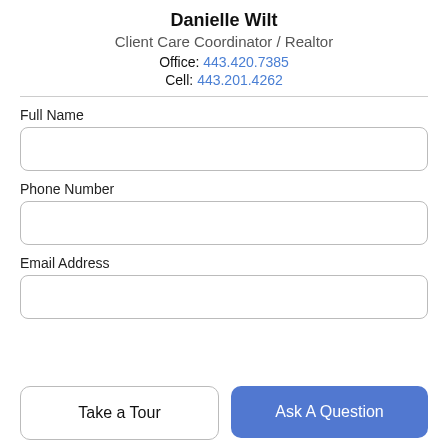Danielle Wilt
Client Care Coordinator / Realtor
Office: 443.420.7385
Cell: 443.201.4262
Full Name
Phone Number
Email Address
Take a Tour
Ask A Question